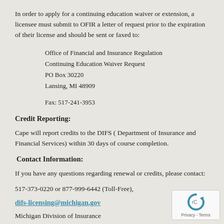In order to apply for a continuing education waiver or extension, a licensee must submit to OFIR a letter of request prior to the expiration of their license and should be sent or faxed to:
Office of Financial and Insurance Regulation
Continuing Education Waiver Request
PO Box 30220
Lansing, MI 48909
Fax: 517-241-3953
Credit Reporting:
Cape will report credits to the DIFS ( Department of Insurance and Financial Services) within 30 days of course completion.
Contact Information:
If you have any questions regarding renewal or credits, please contact:
517-373-0220 or 877-999-6442 (Toll-Free),
difs-licensing@michigan.gov
Michigan Division of Insurance